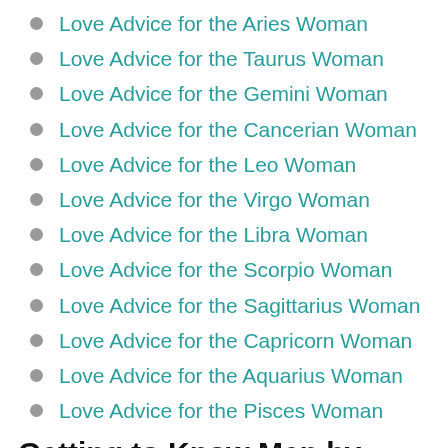Love Advice for the Aries Woman
Love Advice for the Taurus Woman
Love Advice for the Gemini Woman
Love Advice for the Cancerian Woman
Love Advice for the Leo Woman
Love Advice for the Virgo Woman
Love Advice for the Libra Woman
Love Advice for the Scorpio Woman
Love Advice for the Sagittarius Woman
Love Advice for the Capricorn Woman
Love Advice for the Aquarius Woman
Love Advice for the Pisces Woman
Getting to Know Men by Zodiac Sign